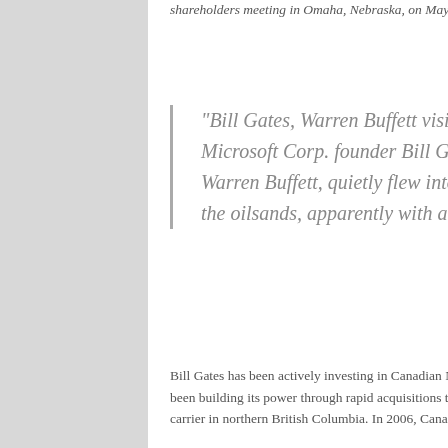shareholders meeting in Omaha, Nebraska, on May 5, 2012. [Source: Billionaires Worth $1.9 Trillion Seek Advantage in 2013]
"Bill Gates, Warren Buffett visit Alberta oilsands. Two of the world's richest people, Microsoft Corp. founder Bill Gates and his friend, American investment magnate Warren Buffett, quietly flew into northeastern Alberta on Monday, where they took in the oilsands, apparently with awe." — Calgary Herald, August 19, 2008
Bill Gates has been actively investing in Canadian Nation (CN) for years (since approx. 2000) while, simultaneously, CN has been building its power through rapid acquisitions that include provincially-owned BC Rail, positioning itself as the sole rail carrier in northern British Columbia. In 2006, Canadian National railway